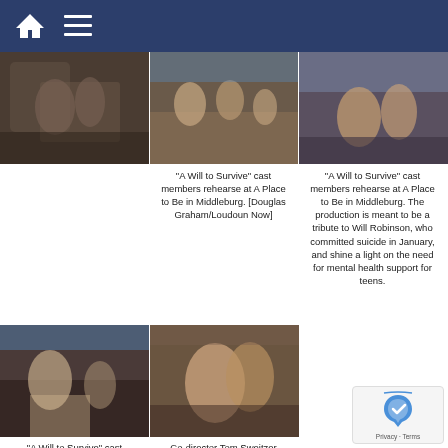Navigation bar with home icon and menu icon
[Figure (photo): Cast members rehearse at A Place to Be in Middleburg - left photo]
[Figure (photo): Cast members rehearse at A Place to Be in Middleburg - center photo]
[Figure (photo): Cast members rehearse at A Place to Be in Middleburg - right photo]
“A Will to Survive” cast members rehearse at A Place to Be in Middleburg. [Douglas Graham/Loudoun Now]
“A Will to Survive” cast members rehearse at A Place to Be in Middleburg. The production is meant to be a tribute to Will Robinson, who committed suicide in January, and shine a light on the need for mental health support for teens.
[Figure (photo): A Will to Survive cast members rehearse at A Place to Be in Middleburg - bottom left]
[Figure (photo): Co-director Tom Sweitzer comforts Ann-Charlotte Robertson as she...]
“A Will to Survive” cast members rehearse at A Place to Be in Middleburg
Co-director Tom Sweitzer comforts Ann-Charlotte Robertson as she